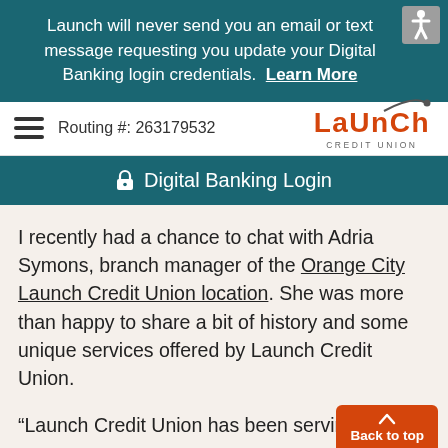Launch will never send you an email or text message requesting you update your Digital Banking login credentials. Learn More
Routing #: 263179532
[Figure (logo): Launch Credit Union logo - red LAUNCH text with arc graphic and CREDIT UNION subtitle]
Digital Banking Login
I recently had a chance to chat with Adria Symons, branch manager of the Orange City Launch Credit Union location. She was more than happy to share a bit of history and some unique services offered by Launch Credit Union.
“Launch Credit Union has been serving our